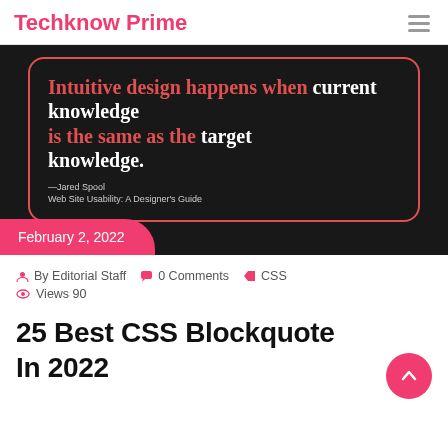Techknow Prime
[Figure (illustration): Dark background quote card with red border showing: 'Intuitive design happens when current knowledge is the same as the target knowledge.' attributed to Jared Spool, Web Site Usability: A Designer's Guide. Red date badge at bottom left reads February 2, 2022.]
By Editorial Staff   0 Comments   CSS   Views 90
25 Best CSS Blockquote In 2022